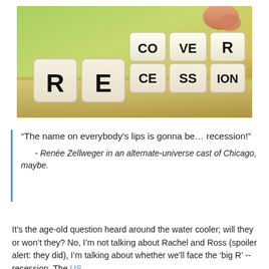[Figure (photo): Photo of wooden dice blocks being flipped from spelling RECESSION to RECOVERY, with a finger turning the middle dice. Letters R, E visible on front dice, CO/CE, VE/SS, R/ION on stacked dice in the middle. Blurred green background.]
“The name on everybody’s lips is gonna be… recession!”

- Renée Zellweger in an alternate-universe cast of Chicago, maybe.
It’s the age-old question heard around the water cooler; will they or won’t they? No, I’m not talking about Rachel and Ross (spoiler alert: they did), I’m talking about whether we’ll face the ‘big R’ -- recession. The US